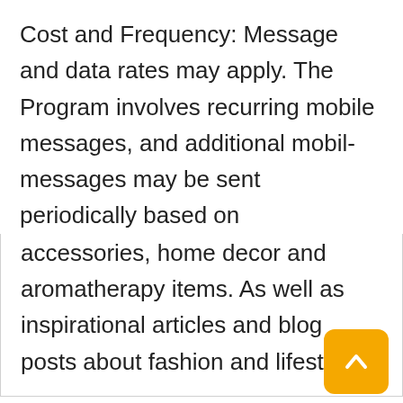Program Description: Without limiting the scope of the Program, users that opt into the Program can expect to receive messages concerning the marketing and sale of different apparel, jewelry and accessories, home decor and aromatherapy items. As well as inspirational articles and blog posts about fashion and lifestyle.
Cost and Frequency: Message and data rates may apply. The Program involves recurring mobile messages, and additional mobile messages may be sent periodically based on